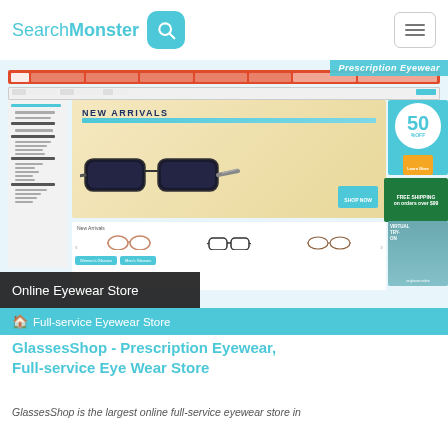SearchMonster
[Figure (screenshot): Screenshot of GlassesShop prescription eyewear online store showing navigation, new arrivals banner with glasses, 50% off promo, virtual try-on feature, and product listings for women's and men's glasses.]
Online Eyewear Store
Full-service Eyewear Store
GlassesShop - Prescription Eyewear, Full-service Eye Wear Store
GlassesShop is the largest online full-service eyewear store in